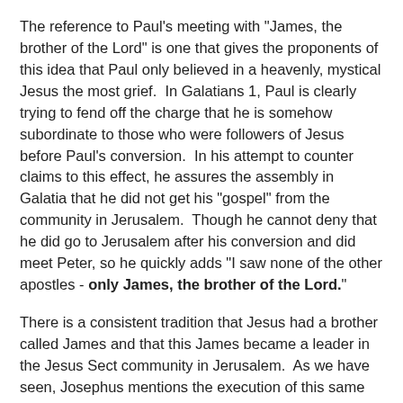The reference to Paul's meeting with "James, the brother of the Lord" is one that gives the proponents of this idea that Paul only believed in a heavenly, mystical Jesus the most grief.  In Galatians 1, Paul is clearly trying to fend off the charge that he is somehow subordinate to those who were followers of Jesus before Paul's conversion.  In his attempt to counter claims to this effect, he assures the assembly in Galatia that he did not get his "gospel" from the community in Jerusalem.  Though he cannot deny that he did go to Jerusalem after his conversion and did meet Peter, so he quickly adds "I saw none of the other apostles - only James, the brother of the Lord."
There is a consistent tradition that Jesus had a brother called James and that this James became a leader in the Jesus Sect community in Jerusalem.  As we have seen, Josephus mentions the execution of this same James, "brother of that Jesus who was called Messiah".  So we have a confluence of evidence, both Christian and non-Christian, that Jesus had a brother called James who was a leader in Jerusalem and here we have Paul mentioning, in passing, meeting this